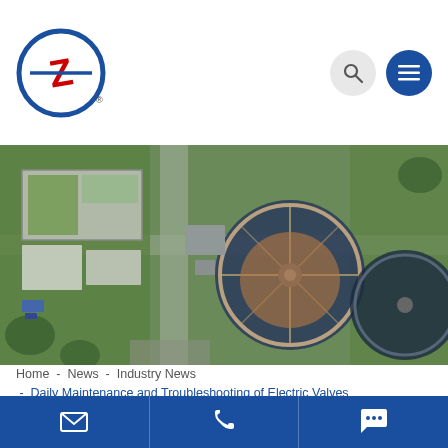[Figure (logo): Z-type logo with circular blue border and red letter Z, with registered trademark symbol]
[Figure (photo): Aerial view of a water treatment plant with circular clarifier tanks and rectangular buildings surrounded by greenery]
Home - News - Industry News - Daily Maintenance and Troubleshooting of Electric Valves
Daily Maintenance and
[Figure (infographic): Bottom navigation bar with email, phone, and chat icons on dark blue background]